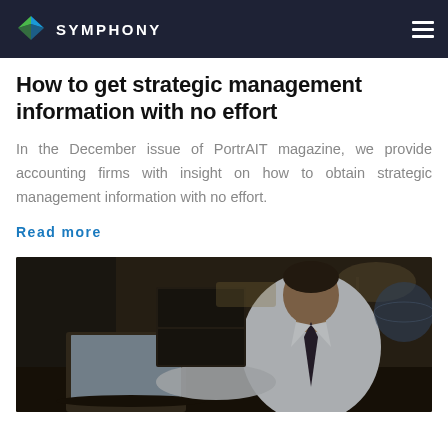SYMPHONY
How to get strategic management information with no effort
In the December issue of PortrAIT magazine, we provide accounting firms with insight on how to obtain strategic management information with no effort.
Read more
[Figure (photo): Professional man in white dress shirt and tie working on a laptop in a dimly lit office environment]